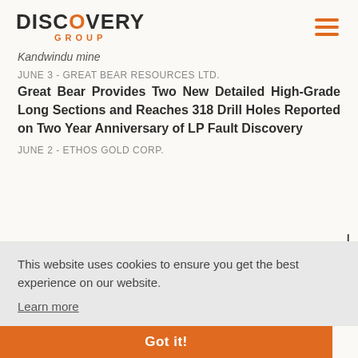DISCOVERY GROUP
Kandwindu mine
JUNE 3 - GREAT BEAR RESOURCES LTD.
Great Bear Provides Two New Detailed High-Grade Long Sections and Reaches 318 Drill Holes Reported on Two Year Anniversary of LP Fault Discovery
JUNE 2 - ETHOS GOLD CORP.
This website uses cookies to ensure you get the best experience on our website.
Learn more
rector;
Got it!
MAY 31 - GREAT BEAR RESOURCES LTD.